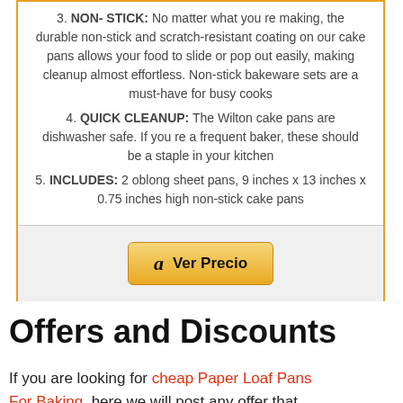3. NON-STICK: No matter what you re making, the durable non-stick and scratch-resistant coating on our cake pans allows your food to slide or pop out easily, making cleanup almost effortless. Non-stick bakeware sets are a must-have for busy cooks
4. QUICK CLEANUP: The Wilton cake pans are dishwasher safe. If you re a frequent baker, these should be a staple in your kitchen
5. INCLUDES: 2 oblong sheet pans, 9 inches x 13 inches x 0.75 inches high non-stick cake pans
Ver Precio
Offers and Discounts
If you are looking for cheap Paper Loaf Pans For Baking, here we will post any offer that